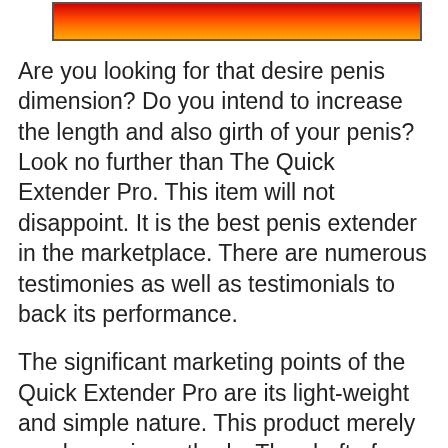[Figure (other): Red-orange gradient banner/header bar]
Are you looking for that desire penis dimension? Do you intend to increase the length and also girth of your penis? Look no further than The Quick Extender Pro. This item will not disappoint. It is the best penis extender in the marketplace. There are numerous testimonies as well as testimonials to back its performance.
The significant marketing points of the Quick Extender Pro are its light-weight and simple nature. This product merely employs grip methods. The shaft of your penis will be extended by the product. As a result, there will certainly be micro-injuries. For these injuries to recover, brand-new cells have to